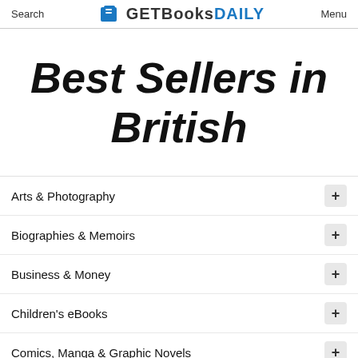Search  GET Books DAILY  Menu
Best Sellers in British
Arts & Photography
Biographies & Memoirs
Business & Money
Children's eBooks
Comics, Manga & Graphic Novels